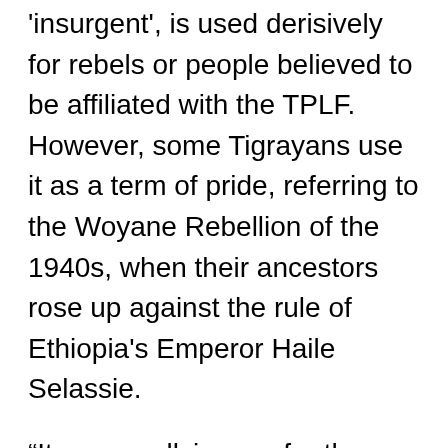'insurgent', is used derisively for rebels or people believed to be affiliated with the TPLF. However, some Tigrayans use it as a term of pride, referring to the Woyane Rebellion of the 1940s, when their ancestors rose up against the rule of Ethiopia's Emperor Haile Selassie.
“It was a rallying cry for the Tigrayan struggle, which was also along the lines of demanding autonomy or at least against marginalisation against the central state,” explained the International Crisis Group’s